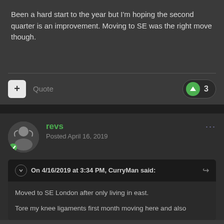Been a hard start to the year but I'm hoping the second quarter is an improvement. Moving to SE was the right move though.
Quote  ↑ 3
revs
Posted April 16, 2019
On 4/16/2019 at 3:34 PM, CurryMan said:
Moved to SE London after only living in east.

Tore my knee ligaments first month moving here and also